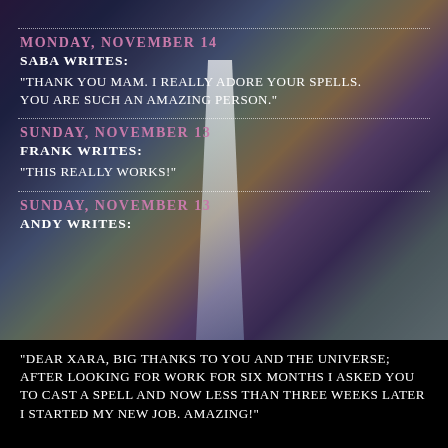Monday, November 14
Saba writes:
"Thank you mam. I really adore your spells. You are such an amazing person."
Sunday, November 13
Frank writes:
"This really works!"
Sunday, November 13
Andy writes:
"Dear Xara, big thanks to you and the universe; after looking for work for six months I asked you to cast a spell and now less than three weeks later I started my new job. Amazing!"